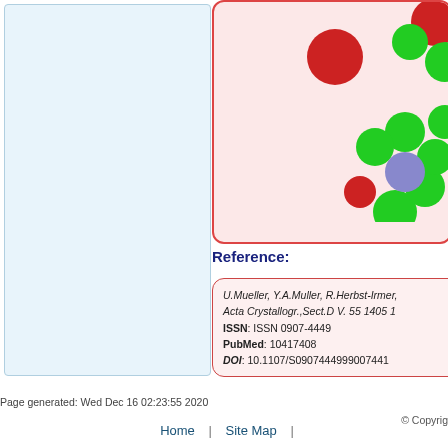[Figure (illustration): Light blue panel on the left side of the page, likely a sidebar or navigation area with a light blue background and border.]
[Figure (photo): Molecular structure visualization showing colored spheres (red, green, blue/purple) representing atoms in a 3D ball-and-stick model on a pink/light background box with red border.]
Reference:
U.Mueller, Y.A.Muller, R.Herbst-Irmer, Acta Crystallogr.,Sect.D V. 55 1405 1
ISSN: ISSN 0907-4449
PubMed: 10417408
DOI: 10.1107/S0907444999007441
Page generated: Wed Dec 16 02:23:55 2020
© Copyrig
Home | Site Map |